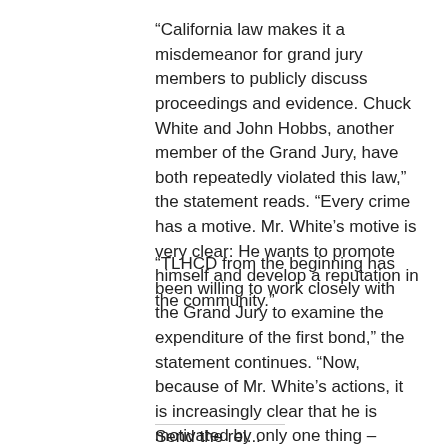“California law makes it a misdemeanor for grand jury members to publicly discuss proceedings and evidence. Chuck White and John Hobbs, another member of the Grand Jury, have both repeatedly violated this law,” the statement reads. “Every crime has a motive. Mr. White’s motive is very clear: He wants to promote himself and develop a reputation in the community.”
“TLHCD from the beginning has been willing to work closely with the Grand Jury to examine the expenditure of the first bond,” the statement continues. “Now, because of Mr. White’s actions, it is increasingly clear that he is motivated by only one thing – publicity – instead of his very important role as the leader of a body that is supposed to help improve local government.”